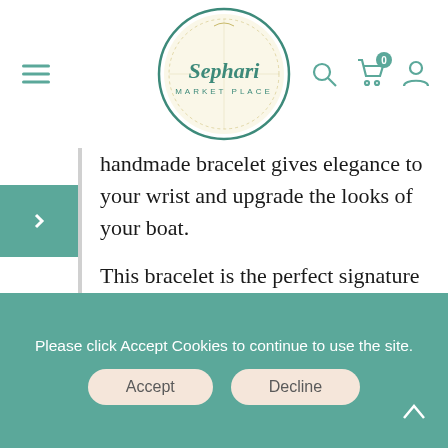[Figure (logo): Sephari Market Place circular logo with teal border and script text on cream background]
handmade bracelet gives elegance to your wrist and upgrade the looks of your boat.
This bracelet is the perfect signature piece to turn an outfit around. It makes you look good in whatever kind of outfit you wear. It's made of the highest quality, nautical, sailing ropes, and a wooden anchor.
Please click Accept Cookies to continue to use the site.